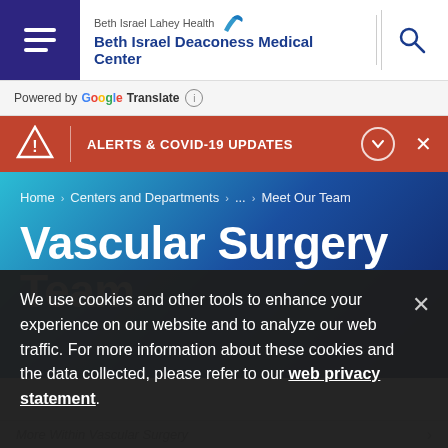[Figure (screenshot): Beth Israel Lahey Health / Beth Israel Deaconess Medical Center website header with hamburger menu, logo, and search icon]
Powered by Google Translate
ALERTS & COVID-19 UPDATES
Home > Centers and Departments > ... > Meet Our Team
Vascular Surgery Team
We use cookies and other tools to enhance your experience on our website and to analyze our web traffic. For more information about these cookies and the data collected, please refer to our web privacy statement.
More Within Vascular Surgery